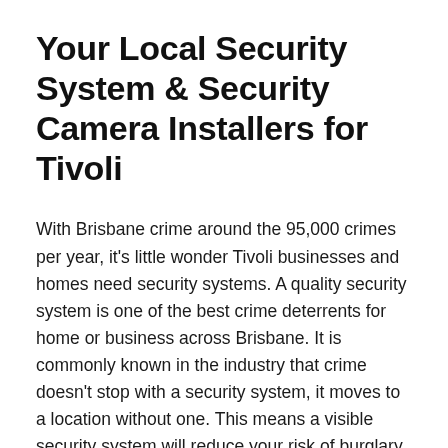Your Local Security System & Security Camera Installers for Tivoli
With Brisbane crime around the 95,000 crimes per year, it's little wonder Tivoli businesses and homes need security systems. A quality security system is one of the best crime deterrents for home or business across Brisbane. It is commonly known in the industry that crime doesn't stop with a security system, it moves to a location without one. This means a visible security system will reduce your risk of burglary, theft, robbery, vandalism and personal harm.
OzSpy Security Solutions has been helping Tivoli businesses and residents since 1998 and are one of Brisbane's longest